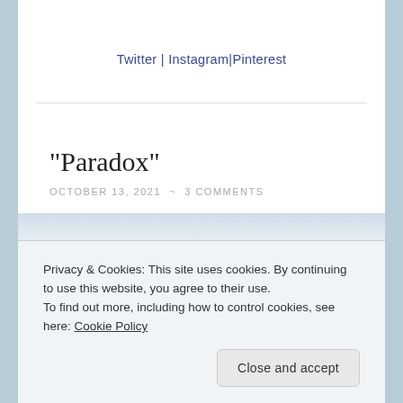Twitter | Instagram|Pinterest
“Paradox”
OCTOBER 13, 2021 ~ 3 COMMENTS
[Figure (photo): Partial view of a light blue/white gradient image, partially obscured by cookie banner]
Privacy & Cookies: This site uses cookies. By continuing to use this website, you agree to their use.
To find out more, including how to control cookies, see here: Cookie Policy
Close and accept